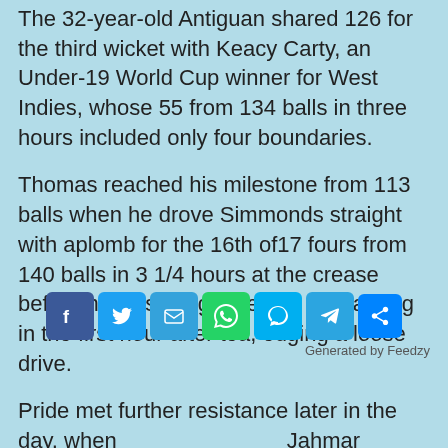The 32-year-old Antiguan shared 126 for the third wicket with Keacy Carty, an Under-19 World Cup winner for West Indies, whose 55 from 134 balls in three hours included only four boundaries.
Thomas reached his milestone from 113 balls when he drove Simmonds straight with aplomb for the 16th of 17 fours from 140 balls in 3 1/4 hours at the crease before he was caught behind off Harding in the first hour after tea, edging a loose drive.
Pride met further resistance later in the day, when just ahead of Jahmar Hamilton, not out on 40, anchored a couple of tidy stands with the lower-half of
Generated by Feedzy